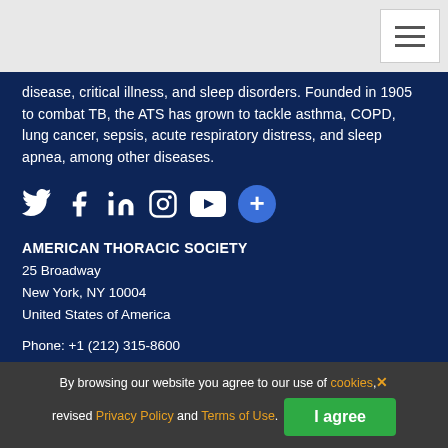disease, critical illness, and sleep disorders. Founded in 1905 to combat TB, the ATS has grown to tackle asthma, COPD, lung cancer, sepsis, acute respiratory distress, and sleep apnea, among other diseases.
[Figure (other): Social media icons: Twitter, Facebook, LinkedIn, Instagram, YouTube, and a blue plus circle button]
AMERICAN THORACIC SOCIETY
25 Broadway
New York, NY 10004
United States of America
Phone: +1 (212) 315-8600
Fax: +1 (212) 315-6498
Email: atsinfo@thoracic.org
By browsing our website you agree to our use of cookies, revised Privacy Policy and Terms of Use.